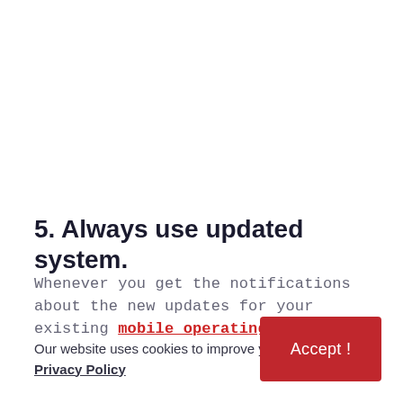5. Always use updated system.
Whenever you get the notifications about the new updates for your existing mobile operating
Our website uses cookies to improve your experience. Privacy Policy
[Figure (other): Red Accept! button in bottom right corner]